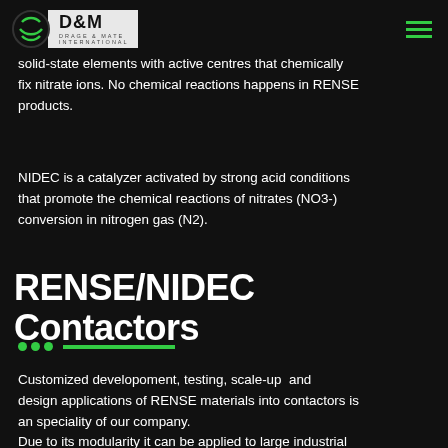D&M Drage & Mate International
materials able to capture nitrates at specific active proposed by metallic and nonmetallic solid-state elements with active centres that chemically fix nitrate ions. No chemical reactions happens in RENSE products.
NIDEC is a catalyzer activated by strong acid conditions that promote the chemical reactions of nitrates (NO3-) conversion in nitrogen gas (N2).
RENSE/NIDEC Contactors
Customized developoment, testing, scale-up and design applications of RENSE materials into contactors is an speciality of our company.
Due to its modularity it can be applied to large industrial